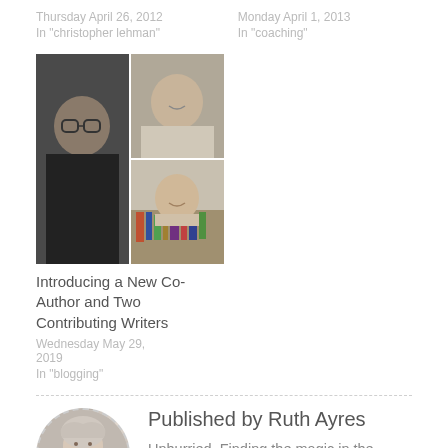Thursday April 26, 2012
In "christopher lehman"
Monday April 1, 2013
In "coaching"
[Figure (photo): A grid of three people's photos: one tall photo on the left of a woman with glasses and dark hair, top right photo of a woman smiling, bottom right photo of a woman in front of a bookshelf.]
Introducing a New Co-Author and Two Contributing Writers
Wednesday May 29, 2019
In "blogging"
[Figure (photo): Circular portrait of a woman with gray/blonde curly hair smiling, dashed circular border.]
Published by Ruth Ayres
Unhurried. Finding the magic in the middle of living. Capturing a life of